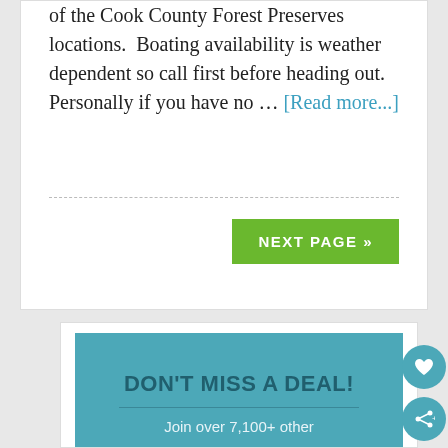of the Cook County Forest Preserves locations.  Boating availability is weather dependent so call first before heading out.  Personally if you have no … [Read more...]
NEXT PAGE »
DON'T MISS A DEAL!
Join over 7,100+ other